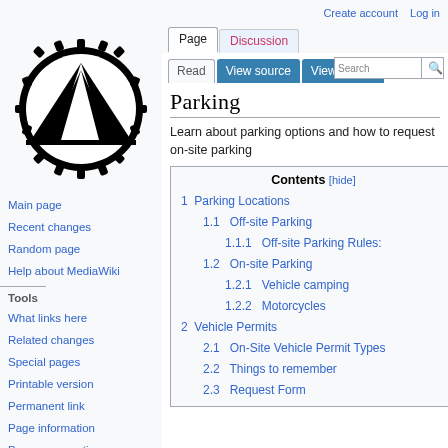Create account  Log in
[Figure (logo): MediaWiki-style wiki logo: black circle with gear teeth border, white interior showing a black tent/camping icon]
Main page
Recent changes
Random page
Help about MediaWiki
Tools
What links here
Related changes
Special pages
Printable version
Permanent link
Page information
Browse properties
Parking
Learn about parking options and how to request on-site parking
| Contents [hide] |
| --- |
| 1  Parking Locations |
| 1.1  Off-site Parking |
| 1.1.1  Off-site Parking Rules: |
| 1.2  On-site Parking |
| 1.2.1  Vehicle camping |
| 1.2.2  Motorcycles |
| 2  Vehicle Permits |
| 2.1  On-Site Vehicle Permit Types |
| 2.2  Things to remember |
| 2.3  Request Form |